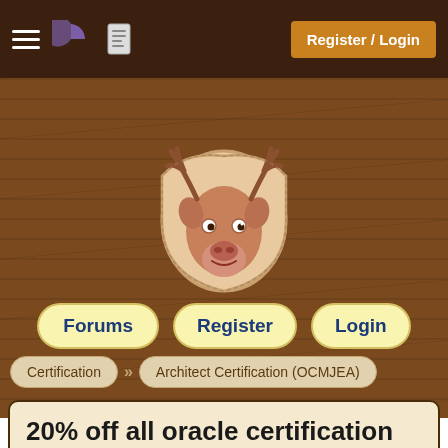Register / Login
[Figure (logo): JavaRanch/CodeRanch moose head logo illustration on wooden background]
Forums   Register   Login
Certification » Architect Certification (OCMJEA)
20% off all oracle certification exams through end of 2015
nick woodward , Ranch Hand
Nov 17, 2015 08:23:31